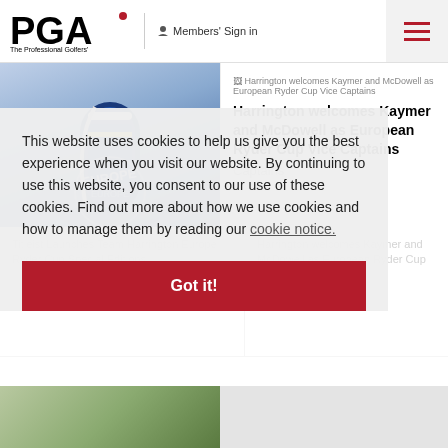[Figure (logo): PGA - The Professional Golfers' Association logo]
Members' Sign in
[Figure (photo): Golf bag with blue and yellow design, EUROPE text visible]
Harrington welcomes Kaymer and McDowell as European Ryder Cup Vice Captains
This website uses cookies to help us give you the best experience when you visit our website. By continuing to use this website, you consent to our use of these cookies. Find out more about how we use cookies and how to manage them by reading our cookie notice.
Got it!